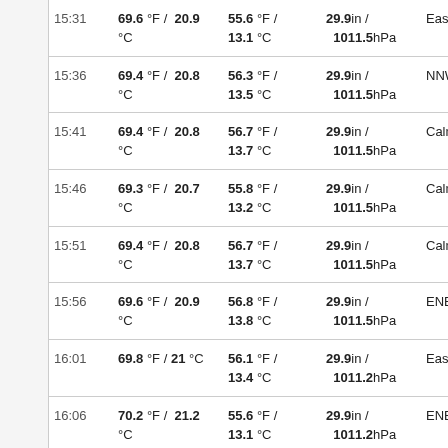| Time | Temperature | Dew Point | Pressure | Wind |  |
| --- | --- | --- | --- | --- | --- |
| 15:31 | 69.6 °F / 20.9 °C | 55.6 °F / 13.1 °C | 29.9in / 1011.5hPa | East |  |
| 15:36 | 69.4 °F / 20.8 °C | 56.3 °F / 13.5 °C | 29.9in / 1011.5hPa | NNW |  |
| 15:41 | 69.4 °F / 20.8 °C | 56.7 °F / 13.7 °C | 29.9in / 1011.5hPa | Calm |  |
| 15:46 | 69.3 °F / 20.7 °C | 55.8 °F / 13.2 °C | 29.9in / 1011.5hPa | Calm |  |
| 15:51 | 69.4 °F / 20.8 °C | 56.7 °F / 13.7 °C | 29.9in / 1011.5hPa | Calm |  |
| 15:56 | 69.6 °F / 20.9 °C | 56.8 °F / 13.8 °C | 29.9in / 1011.5hPa | ENE |  |
| 16:01 | 69.8 °F / 21 °C | 56.1 °F / 13.4 °C | 29.9in / 1011.2hPa | East |  |
| 16:06 | 70.2 °F / 21.2 °C | 55.6 °F / 13.1 °C | 29.9in / 1011.2hPa | ENE |  |
| 16:11 | 70 °F / 21.1 °C | 55.4 °F / 13 °C | 29.9in / ... | NE |  |